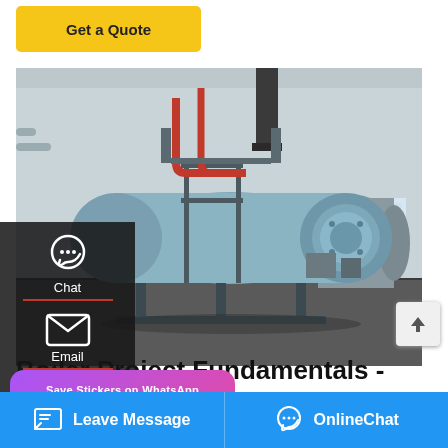[Figure (other): Yellow 'Get a Quote' button at top left]
[Figure (photo): Industrial boiler room with large cylindrical blue boilers, red pipes, metal scaffolding, inside a white-walled facility]
Boiler Project Fundamentals - AIChE
...of a boiler is a closed vessel in
[Figure (other): WhatsApp sticker save popup with purple-pink gradient background, phone and smiley icons]
[Figure (other): Bottom blue bar with Leave Message and OnlineChat buttons]